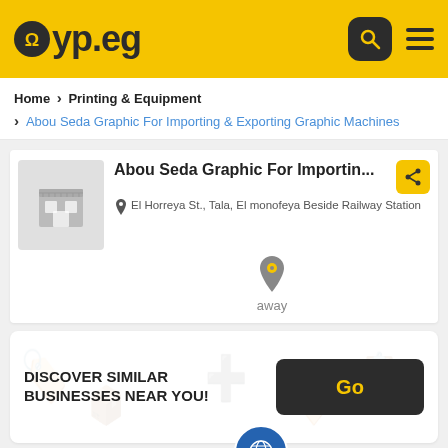yp.eg
Home › Printing & Equipment › Abou Seda Graphic For Importing & Exporting Graphic Machines
Abou Seda Graphic For Importin...
El Horreya St., Tala, El monofeya Beside Railway Station
away
DISCOVER SIMILAR BUSINESSES NEAR YOU!
Go
Get 470,000+ Local Businesses in Your Pocket, for FREE.
Open in App